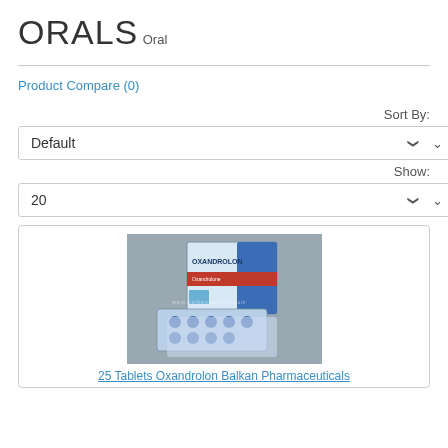ORALS
Oral
Product Compare (0)
Sort By:
Default
Show:
20
[Figure (photo): Product photo of Oxandrolon Balkan Pharmaceuticals tablets and packaging — shows a box labeled OXANDROLON with blister packs of small blue tablets in front.]
25 Tablets Oxandrolon Balkan Pharmaceuticals